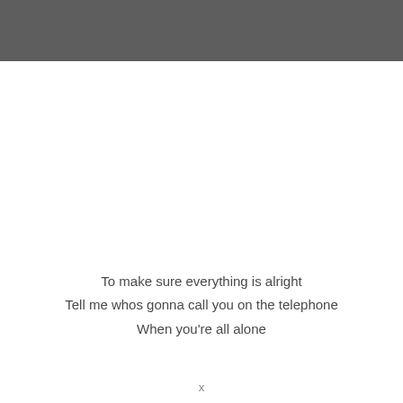[Figure (other): Dark grey header bar spanning the top of the page]
To make sure everything is alright
Tell me whos gonna call you on the telephone
When you're all alone
x